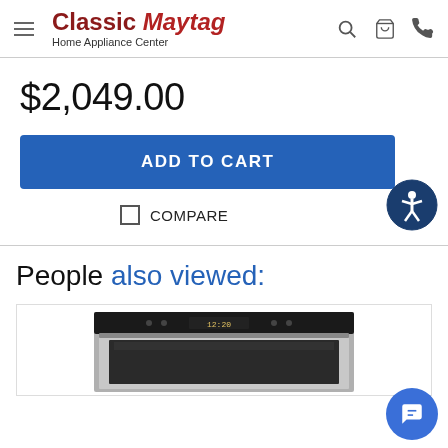Classic Maytag Home Appliance Center
$2,049.00
ADD TO CART
COMPARE
People also viewed:
[Figure (photo): Stainless steel built-in wall oven showing control panel with digital clock display reading 12:20]